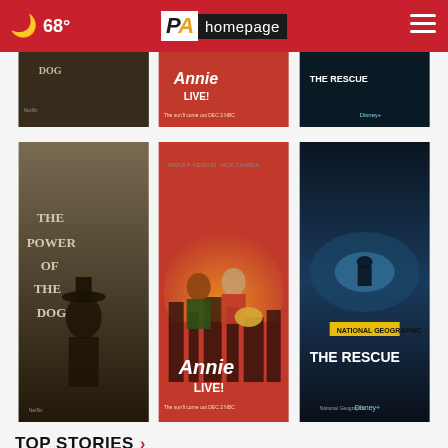PAhomepage — 68°
[Figure (screenshot): Partially visible movie poster strip: The Power of the Dog, Annie Live!, The Rescue]
[Figure (screenshot): Three movie posters: The Power of the Dog (Netflix), Annie Live! (NBC), The Rescue (Disney+)]
TOP STORIES ›
[Figure (screenshot): Video thumbnail showing wood ceiling interior with play button, overlaid with Caputo & Mariotti personal injury advertisement]